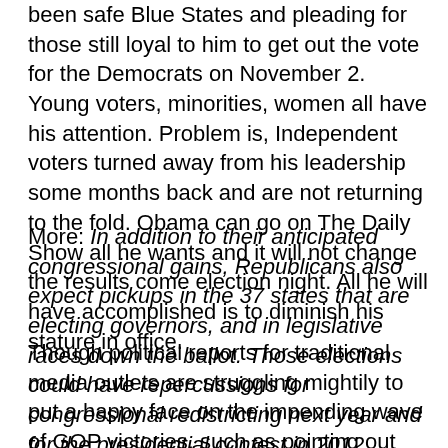been safe Blue States and pleading for those still loyal to him to get out the vote for the Democrats on November 2. Young voters, minorities, women all have his attention. Problem is, Independent voters turned away from his leadership some months back and are not returning to the fold. Obama can go on The Daily Show all he wants and it will not change the results come election night. All he will have accomplished is to diminish his stature in office.
More: In addition to their anticipated congressional gains, Republicans also expect pickups in the 37 states that are electing governors, and in legislative races down the ballot. Those elections could have repercussions for congressional redistricting next year and for the presidential contest in 2012.
Though political reports for traditional media outlets are struggling mightily to put a happy face on the impending wave of GOP victories, such as pointing out that in California, Whitman and Fiorina are losing ground, it is hard to see much change from predictions coming true. California remaining in Democratic control? No real surprise. The